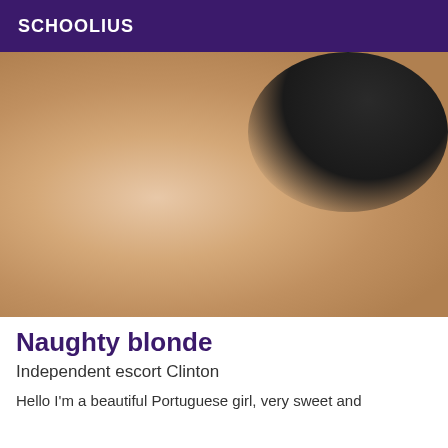SCHOOLIUS
[Figure (photo): Close-up photo of a person lying on a bed wearing black underwear, photographed from behind]
Naughty blonde
Independent escort Clinton
Hello I'm a beautiful Portuguese girl, very sweet and